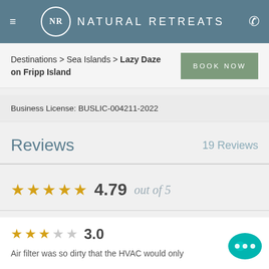NATURAL RETREATS
Destinations > Sea Islands > Lazy Daze on Fripp Island
BOOK NOW
Business License: BUSLIC-004211-2022
Reviews
19 Reviews
4.79 out of 5
3.0
Air filter was so dirty that the HVAC would only